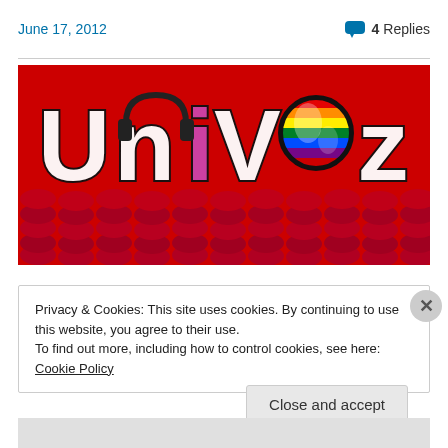June 17, 2012
4 Replies
[Figure (logo): UniVoz logo banner with colorful letters over red theater seats background]
Privacy & Cookies: This site uses cookies. By continuing to use this website, you agree to their use.
To find out more, including how to control cookies, see here: Cookie Policy
Close and accept